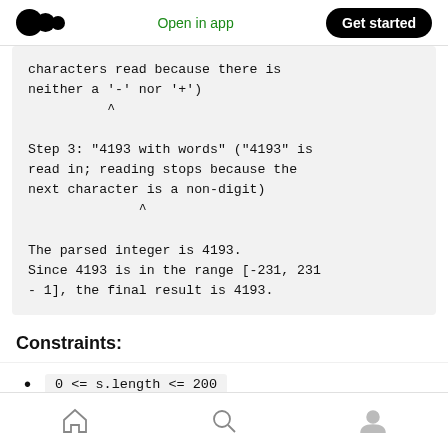Open in app | Get started
characters read because there is neither a '-' nor '+')
          ^
Step 3: "4193 with words" ("4193" is read in; reading stops because the next character is a non-digit)
                ^
The parsed integer is 4193.
Since 4193 is in the range [-231, 231 - 1], the final result is 4193.
Constraints:
0 <= s.length <= 200
Home | Search | Profile